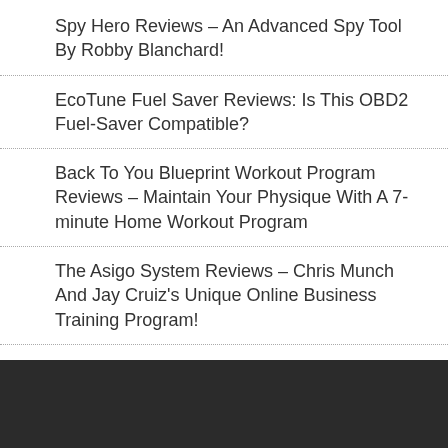Spy Hero Reviews – An Advanced Spy Tool By Robby Blanchard!
EcoTune Fuel Saver Reviews: Is This OBD2 Fuel-Saver Compatible?
Back To You Blueprint Workout Program Reviews – Maintain Your Physique With A 7-minute Home Workout Program
The Asigo System Reviews – Chris Munch And Jay Cruiz's Unique Online Business Training Program!
Prezentar Reviews: A New Cloud-based Presentation Tool!